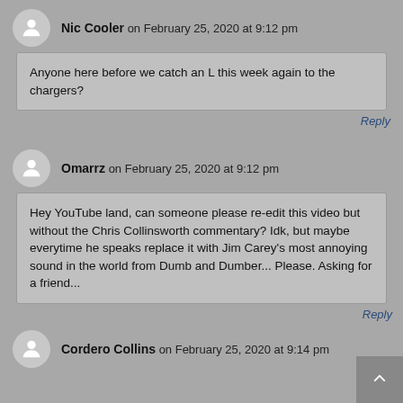Nic Cooler on February 25, 2020 at 9:12 pm
Anyone here before we catch an L this week again to the chargers?
Reply
Omarrz on February 25, 2020 at 9:12 pm
Hey YouTube land, can someone please re-edit this video but without the Chris Collinsworth commentary? Idk, but maybe everytime he speaks replace it with Jim Carey's most annoying sound in the world from Dumb and Dumber... Please. Asking for a friend...
Reply
Cordero Collins on February 25, 2020 at 9:14 pm